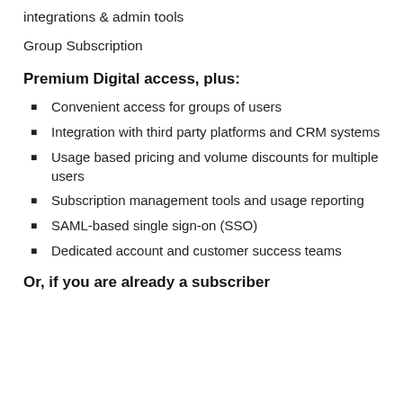integrations & admin tools
Group Subscription
Premium Digital access, plus:
Convenient access for groups of users
Integration with third party platforms and CRM systems
Usage based pricing and volume discounts for multiple users
Subscription management tools and usage reporting
SAML-based single sign-on (SSO)
Dedicated account and customer success teams
Or, if you are already a subscriber